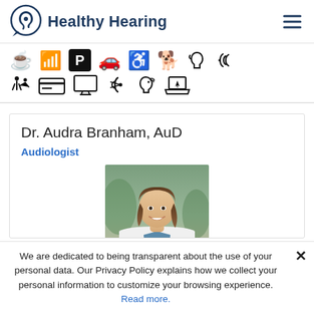Healthy Hearing
[Figure (infographic): Row of accessibility and amenity icons: coffee cup, wifi, parking (P in black box), car, wheelchair, guide dog, hearing loop, ear with sound waves; second row: person with child, credit card, monitor/display, ear with sound, head profile, laptop]
Dr. Audra Branham, AuD
Audiologist
[Figure (photo): Professional headshot photo of Dr. Audra Branham — a woman with long brown hair wearing a white lab coat, smiling, with a blurred outdoor background]
We are dedicated to being transparent about the use of your personal data. Our Privacy Policy explains how we collect your personal information to customize your browsing experience. Read more.